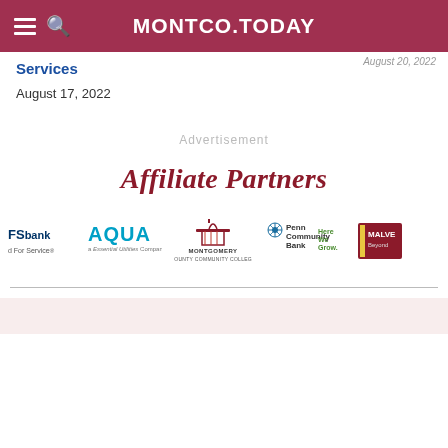MONTCO.TODAY
August 20, 2022
Services
August 17, 2022
Advertisement
Affiliate Partners
[Figure (logo): Row of affiliate partner logos: TFS bank, AQUA (a Essential Utilities Company), Montgomery County Community College, Penn Community Bank Here We Grow, Malvern Bank]